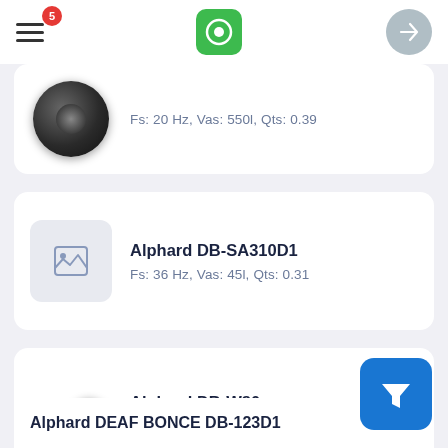Navigation bar with menu (badge: 5), logo, and login button
[Figure (photo): Speaker product image (dark circular subwoofer, top view, partially cropped)]
Fs: 20 Hz, Vas: 550l, Qts: 0.39
[Figure (photo): Alphard DB-SA310D1 product image placeholder (image not loaded)]
Alphard DB-SA310D1
Fs: 36 Hz, Vas: 45l, Qts: 0.31
[Figure (photo): Alphard DB-W80 product image showing two black speakers]
Alphard DB-W80
Fs: 51 Hz, Vas: 11l, Qts: 0.42
Alphard DEAF BONCE DB-123D1